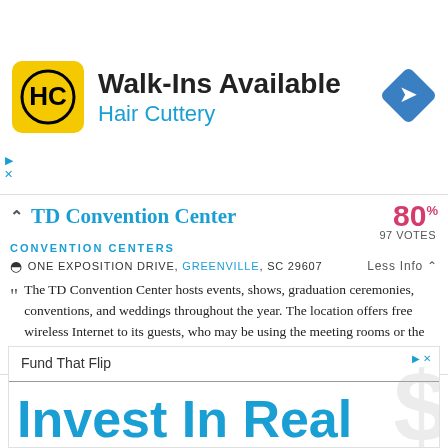[Figure (screenshot): Hair Cuttery advertisement banner with logo, 'Walk-Ins Available' text, 'Hair Cuttery' subtitle in blue, and a blue diamond navigation icon on the right.]
TD Convention Center
80% 97 VOTES
CONVENTION CENTERS
ONE EXPOSITION DRIVE, GREENVILLE, SC 29607  Less Info
The TD Convention Center hosts events, shows, graduation ceremonies, conventions, and weddings throughout the year. The location offers free wireless Internet to its guests, who may be using the meeting rooms or the 280,000 square foot exhibit space.
[Figure (screenshot): Fund That Flip advertisement with 'Invest In Real Estate Online' large text in blue.]